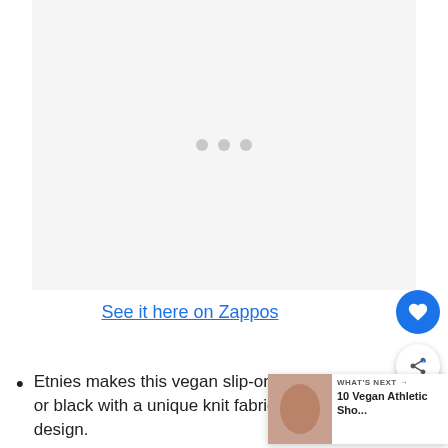[Figure (photo): Product image placeholder with loading dots on light gray background]
See it here on Zappos
Etnies makes this vegan slip-on or black with a unique knit fabric design.